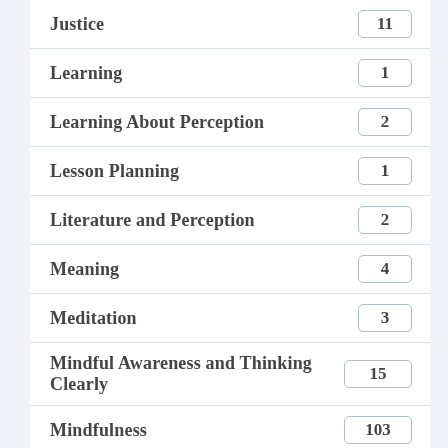Justice 11
Learning 1
Learning About Perception 2
Lesson Planning 1
Literature and Perception 2
Meaning 4
Meditation 3
Mindful Awareness and Thinking Clearly 15
Mindfulness 103
> Mind 2
> Mindfulness 8